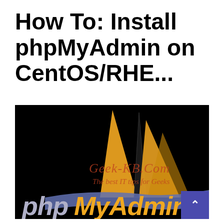How To: Install phpMyAdmin on CentOS/RHE...
[Figure (logo): phpMyAdmin logo on black background with Geek-KB.com watermark showing sailboat/triangle graphic. Text reads 'Geek-KB.Com The best IT tips for Geeks' and 'phpMyAdmin' in large stylized text with grey-blue and orange/gold colors.]